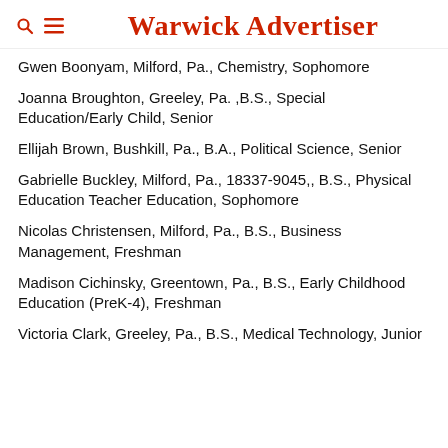Warwick Advertiser
Gwen Boonyam, Milford, Pa., Chemistry, Sophomore
Joanna Broughton, Greeley, Pa. ,B.S., Special Education/Early Child, Senior
Ellijah Brown, Bushkill, Pa., B.A., Political Science, Senior
Gabrielle Buckley, Milford, Pa., 18337-9045,, B.S., Physical Education Teacher Education, Sophomore
Nicolas Christensen, Milford, Pa., B.S., Business Management, Freshman
Madison Cichinsky, Greentown, Pa., B.S., Early Childhood Education (PreK-4), Freshman
Victoria Clark, Greeley, Pa., B.S., Medical Technology, Junior